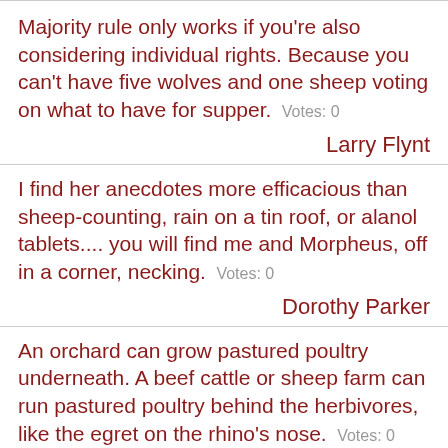Majority rule only works if you're also considering individual rights. Because you can't have five wolves and one sheep voting on what to have for supper. Votes: 0
Larry Flynt
I find her anecdotes more efficacious than sheep-counting, rain on a tin roof, or alanol tablets.... you will find me and Morpheus, off in a corner, necking. Votes: 0
Dorothy Parker
An orchard can grow pastured poultry underneath. A beef cattle or sheep farm can run pastured poultry behind the herbivores, like the egret on the rhino's nose. Votes: 0